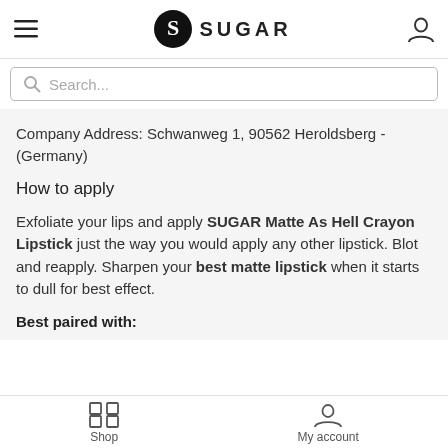SUGAR
Search...
Company Address: Schwanweg 1, 90562 Heroldsberg - (Germany)
How to apply
Exfoliate your lips and apply SUGAR Matte As Hell Crayon Lipstick just the way you would apply any other lipstick. Blot and reapply. Sharpen your best matte lipstick when it starts to dull for best effect.
Best paired with:
Shop   My account